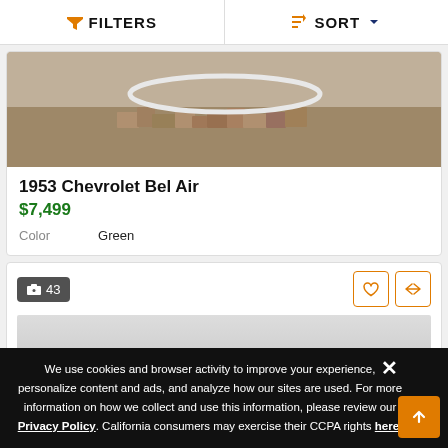FILTERS  SORT
[Figure (photo): Partial view of a 1953 Chevrolet Bel Air showing the lower front end/bumper area surrounded by rubble and dirt]
1953 Chevrolet Bel Air
$7,499
| Color | Green |
| --- | --- |
[Figure (photo): Second car listing card showing photo count badge with 43 photos and action buttons]
We use cookies and browser activity to improve your experience, personalize content and ads, and analyze how our sites are used. For more information on how we collect and use this information, please review our Privacy Policy. California consumers may exercise their CCPA rights here.